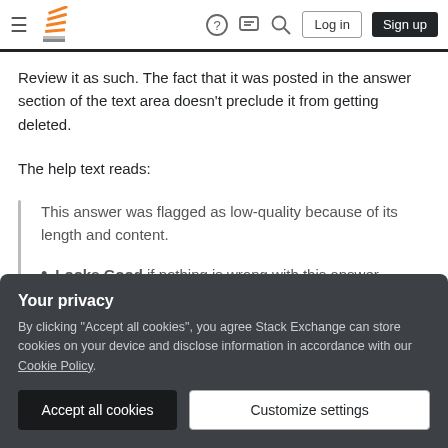Stack Exchange navigation bar with hamburger menu, logo, help, chat, search, Log in, Sign up buttons
Review it as such. The fact that it was posted in the answer section of the text area doesn't preclude it from getting deleted.
The help text reads:
This answer was flagged as low-quality because of its length and content.
Looks Good if nothing is wrong with this answer
Your privacy
By clicking "Accept all cookies", you agree Stack Exchange can store cookies on your device and disclose information in accordance with our Cookie Policy.
Accept all cookies
Customize settings